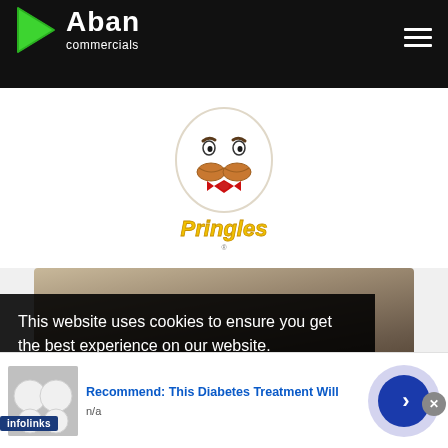Aban commercials
[Figure (logo): Pringles mascot logo with white oval face, brown mustache, red bowtie and yellow Pringles script text]
[Figure (screenshot): Video thumbnail showing person near ceiling in a room, partially obscured by cookie consent overlay]
This website uses cookies to ensure you get the best experience on our website.
learn more
[Figure (screenshot): Advertisement showing white eggs or balls on grey background, with text 'Recommend: This Diabetes Treatment Will' and source 'n/a']
Recommend: This Diabetes Treatment Will
n/a